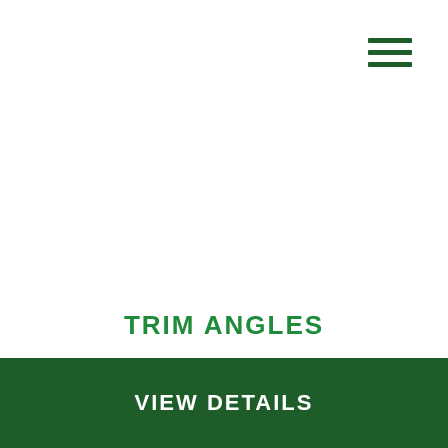[Figure (other): Hamburger menu icon with three horizontal dark green lines in the top-right corner]
TRIM ANGLES
VIEW DETAILS